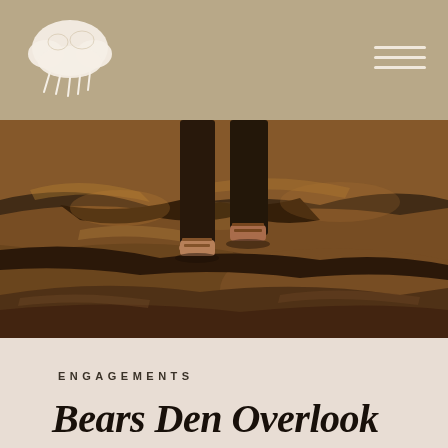Photography studio website header with logo and navigation menu
[Figure (photo): A woman's feet and lower legs standing on rocky terrain, wearing strappy sandals, with dark clothing. Sepia-toned nature photography.]
ENGAGEMENTS
Bears Den Overlook